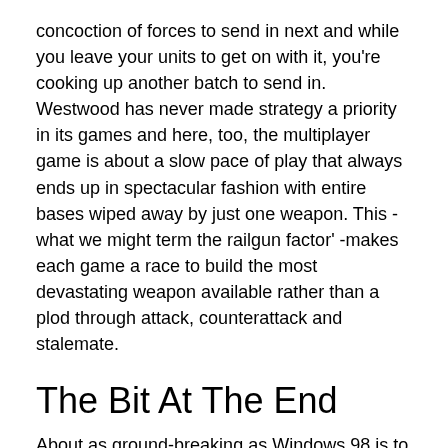concoction of forces to send in next and while you leave your units to get on with it, you're cooking up another batch to send in. Westwood has never made strategy a priority in its games and here, too, the multiplayer game is about a slow pace of play that always ends up in spectacular fashion with entire bases wiped away by just one weapon. This - what we might term the railgun factor' -makes each game a race to build the most devastating weapon available rather than a plod through attack, counterattack and stalemate.
The Bit At The End
About as ground-breaking as Windows 98 is to Windows 95, Red Alert 2 is no less essential for it. The interface has certainly improved since TIberian Sun and the missions, varied and interesting, are carried along by a storyline that doesn't take itself nearly as seriously as other CSC games - for every cheesy line of dialogue, there's a knowing smile behind.